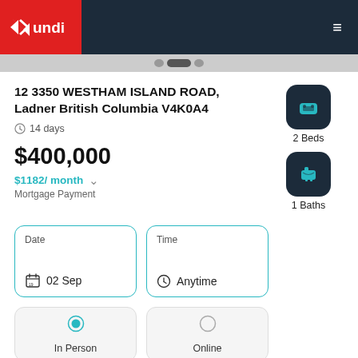Mundi
12 3350 WESTHAM ISLAND ROAD, Ladner British Columbia V4K0A4
14 days
$400,000
$1182/ month
Mortgage Payment
2 Beds
1 Baths
Date
02 Sep
Time
Anytime
In Person
Online